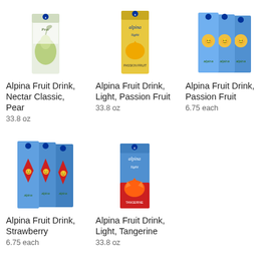[Figure (photo): Alpina Fruit Drink Nectar Classic Pear juice box, green/white packaging with pear image]
Alpina Fruit Drink, Nectar Classic, Pear
33.8 oz
[Figure (photo): Alpina Fruit Drink Light Passion Fruit juice box, yellow packaging with passion fruit splash]
Alpina Fruit Drink, Light, Passion Fruit
33.8 oz
[Figure (photo): Alpina Fruit Drink Passion Fruit 3-pack, blue packaging with cartoon passion fruit faces]
Alpina Fruit Drink, Passion Fruit
6.75 each
[Figure (photo): Alpina Fruit Drink Strawberry 3-pack, blue packaging with cartoon strawberry faces]
Alpina Fruit Drink, Strawberry
6.75 each
[Figure (photo): Alpina Fruit Drink Light Tangerine juice box, blue/red packaging with tangerine splash]
Alpina Fruit Drink, Light, Tangerine
33.8 oz